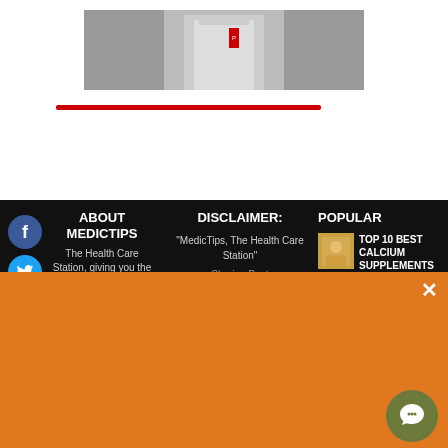[Figure (photo): Partial photo of a person in a white coat/uniform, cropped at top]
Red horizontal divider line
ABOUT MEDICTIPS
The Health Care Station, giving you the health tips related to your body, mind and
DISCLAIMER:
"MedicTips, The Health Care Station"
Sharing Best
POPULAR
[Figure (photo): Small thumbnail image for popular article]
TOP 10 BEST CALCIUM SUPPLEMENTS FOR WOMEN
Do You Want to Stay Fit and Healthy ?
Join our newsletter to receive the latest health and fitness updates.
Email
SUBSCRIBE